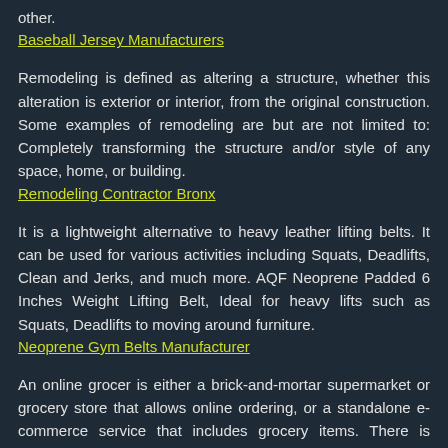other.
Baseball Jersey Manufacturers
Remodeling is defined as altering a structure, whether this alteration is exterior or interior, from the original construction. Some examples of remodeling are but are not limited to: Completely transforming the structure and/or style of any space, home, or building.
Remodeling Contractor Bronx
It is a lightweight alternative to heavy leather lifting belts. It can be used for various activities including Squats, Deadlifts, Clean and Jerks, and much more. AQF Neoprene Padded 6 Inches Weight Lifting Belt, Ideal for heavy lifts such as Squats, Deadlifts to moving around furniture.
Neoprene Gym Belts Manufacturer
An online grocer is either a brick-and-mortar supermarket or grocery store that allows online ordering, or a standalone e-commerce service that includes grocery items. There is usually a delivery charge for this service.